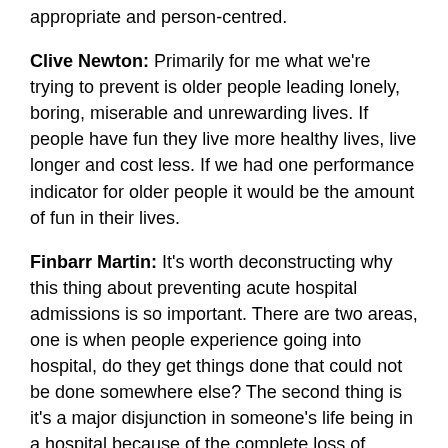appropriate and person-centred.
Clive Newton: Primarily for me what we're trying to prevent is older people leading lonely, boring, miserable and unrewarding lives. If people have fun they live more healthy lives, live longer and cost less. If we had one performance indicator for older people it would be the amount of fun in their lives.
Finbarr Martin: It's worth deconstructing why this thing about preventing acute hospital admissions is so important. There are two areas, one is when people experience going into hospital, do they get things done that could not be done somewhere else? The second thing is it's a major disjunction in someone's life being in a hospital because of the complete loss of autonomy and we haven't developed very good systems for dealing with that. In terms of the other side of why we want to reduce hospital admissions it is because it's expensive. If we are talking about cost savings the gain is in reducing drastically the variants for